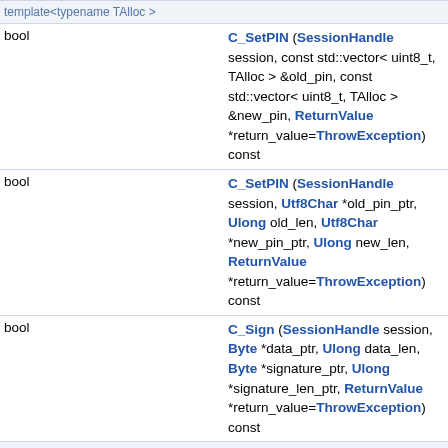template<typename TAlloc >
bool C_SetPIN (SessionHandle session, const std::vector< uint8_t, TAlloc > &old_pin, const std::vector< uint8_t, TAlloc > &new_pin, ReturnValue *return_value=ThrowException) const
bool C_SetPIN (SessionHandle session, Utf8Char *old_pin_ptr, Ulong old_len, Utf8Char *new_pin_ptr, Ulong new_len, ReturnValue *return_value=ThrowException) const
bool C_Sign (SessionHandle session, Byte *data_ptr, Ulong data_len, Byte *signature_ptr, Ulong *signature_len_ptr, ReturnValue *return_value=ThrowException) const
template<typename TAllocA , typename TAllocB >
bool C_Sign (SessionHandle session, const std::vector< uint8_t, TAllocA > &data, std::vector< uint8_t, TAllocB > &signature, ReturnValue *return_value=ThrowException) const
bool C_SignEncryptUpdate (SessionHandle session, Byte *part_ptr, Ulong part_len, Byte *encrypted_part_ptr, Ulong *encrypted_part_len_ptr, ReturnValue *return_value=ThrowException) const
bool C_SignFinal (SessionHandle session, Byte *signature_ptr,